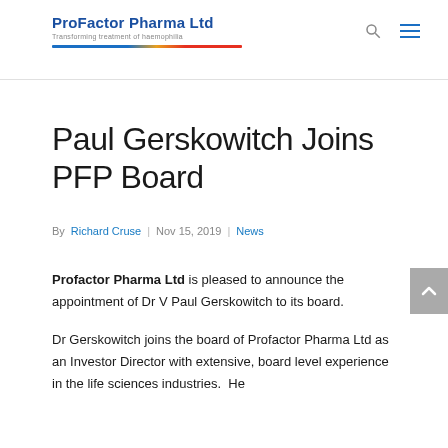ProFactor Pharma Ltd — Transforming treatment of haemophilia
Paul Gerskowitch Joins PFP Board
By Richard Cruse | Nov 15, 2019 | News
Profactor Pharma Ltd is pleased to announce the appointment of Dr V Paul Gerskowitch to its board.
Dr Gerskowitch joins the board of Profactor Pharma Ltd as an Investor Director with extensive, board level experience in the life sciences industries.  He